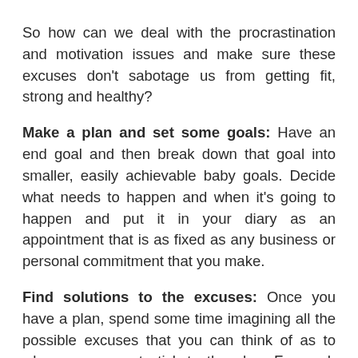So how can we deal with the procrastination and motivation issues and make sure these excuses don't sabotage us from getting fit, strong and healthy?
Make a plan and set some goals: Have an end goal and then break down that goal into smaller, easily achievable baby goals. Decide what needs to happen and when it's going to happen and put it in your diary as an appointment that is as fixed as any business or personal commitment that you make.
Find solutions to the excuses: Once you have a plan, spend some time imagining all the possible excuses that you can think of as to why you may not stick to the plan. For each excuse, think of a solution, an action that you will put in place to